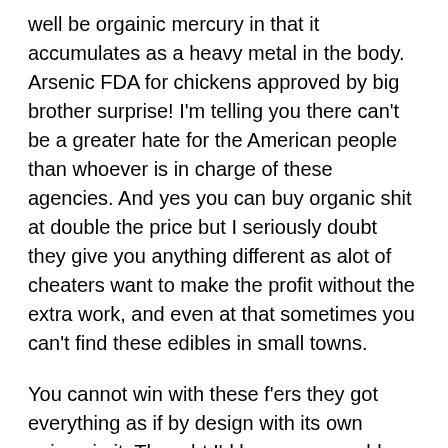well be orgainic mercury in that it accumulates as a heavy metal in the body. Arsenic FDA for chickens approved by big brother surprise! I'm telling you there can't be a greater hate for the American people than whoever is in charge of these agencies. And yes you can buy organic shit at double the price but I seriously doubt they give you anything different as alot of cheaters want to make the profit without the extra work, and even at that sometimes you can't find these edibles in small towns.
You cannot win with these f'ers they got everything as if by design with its own poison in it. Thought I'd buy a reasonably affordable distiller off Amazon from Westinghouse. Fire it up and after 40 times of usage still smells like aldehydes and phenols. Some people actually pour this